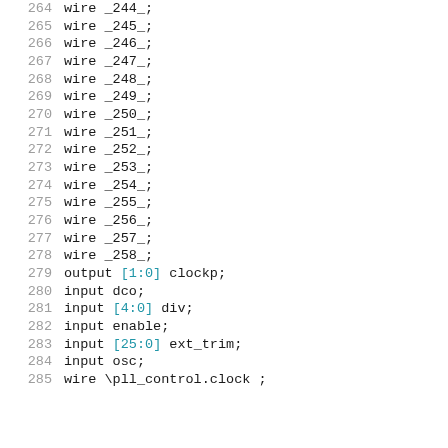264    wire _244_;
265    wire _245_;
266    wire _246_;
267    wire _247_;
268    wire _248_;
269    wire _249_;
270    wire _250_;
271    wire _251_;
272    wire _252_;
273    wire _253_;
274    wire _254_;
275    wire _255_;
276    wire _256_;
277    wire _257_;
278    wire _258_;
279    output [1:0] clockp;
280    input dco;
281    input [4:0] div;
282    input enable;
283    input [25:0] ext_trim;
284    input osc;
285    wire \pll_control.clock ;